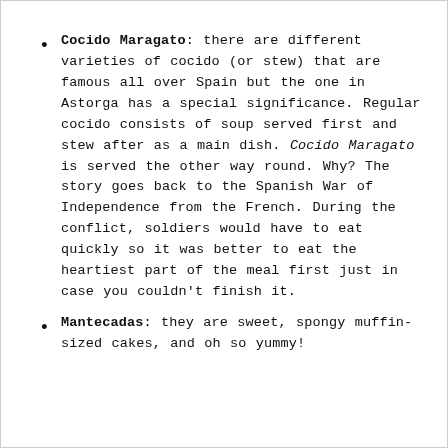Cocido Maragato: there are different varieties of cocido (or stew) that are famous all over Spain but the one in Astorga has a special significance. Regular cocido consists of soup served first and stew after as a main dish. Cocido Maragato is served the other way round. Why? The story goes back to the Spanish War of Independence from the French. During the conflict, soldiers would have to eat quickly so it was better to eat the heartiest part of the meal first just in case you couldn't finish it.
Mantecadas: they are sweet, spongy muffin-sized cakes, and oh so yummy!